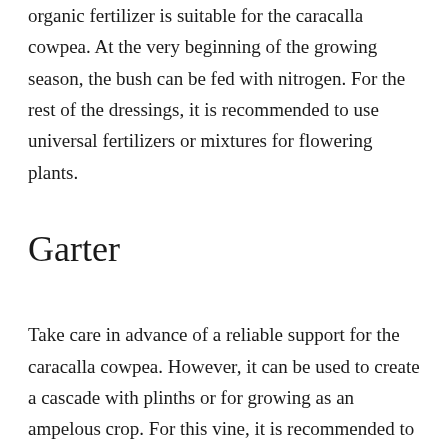organic fertilizer is suitable for the caracalla cowpea. At the very beginning of the growing season, the bush can be fed with nitrogen. For the rest of the dressings, it is recommended to use universal fertilizers or mixtures for flowering plants.
Garter
Take care in advance of a reliable support for the caracalla cowpea. However, it can be used to create a cascade with plinths or for growing as an ampelous crop. For this vine, it is recommended to use stretched rows of twine or a special net. Shoots